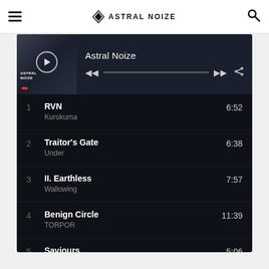Astral Noize
1 RVN Kurokuma 6:52
2 Traitor's Gate Under 6:38
3 II. Earthless Wallowing 7:57
4 Benign Circle TORPOR 11:39
5 Saviours Sūrya 5:06
6 Times of Grace Neurosis 7:22